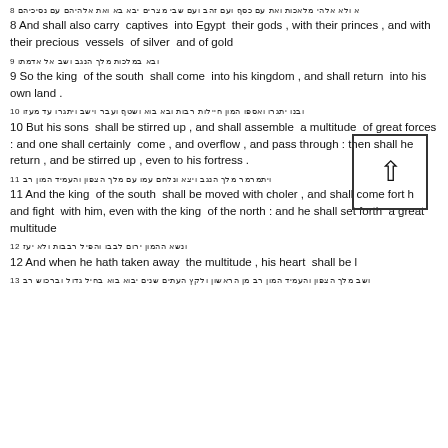8 [Hebrew text] 8 And shall also carry captives into Egypt their gods , with their princes , and with their precious vessels of silver and of gold
9 [Hebrew text] 9 So the king of the south shall come into his kingdom , and shall return into his own land .
10 [Hebrew text] 10 But his sons shall be stirred up , and shall assemble a multitude of great forces : and one shall certainly come , and overflow , and pass through : then shall he return , and be stirred up , even to his fortress .
11 [Hebrew text] 11 And the king of the south shall be moved with choler , and shall come forth and fight with him, even with the king of the north : and he shall set forth a great multitude
12 [Hebrew text] 12 And when he hath taken away the multitude , his heart shall be lifted
13 [Hebrew text]